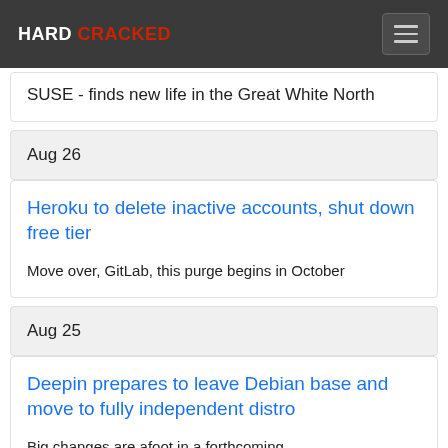HARD CRACKED
SUSE - finds new life in the Great White North
Aug 26
Heroku to delete inactive accounts, shut down free tier
Move over, GitLab, this purge begins in October
Aug 25
Deepin prepares to leave Debian base and move to fully independent distro
Big changes are afoot in a forthcoming